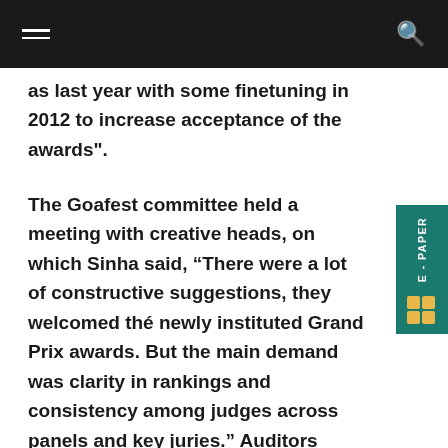as last year with some finetuning in 2012 to increase acceptance of the awards".
The Goafest committee held a meeting with creative heads, on which Sinha said, “There were a lot of constructive suggestions, they welcomed the newly instituted Grand Prix awards. But the main demand was clarity in rankings and consistency among judges across panels and key juries.” Auditors KPMG will monitor the award selection process. In 2011, more than 140 agencies had sent their entries for the Abbies at Goafest. A large number of these were specialist agencies. “The